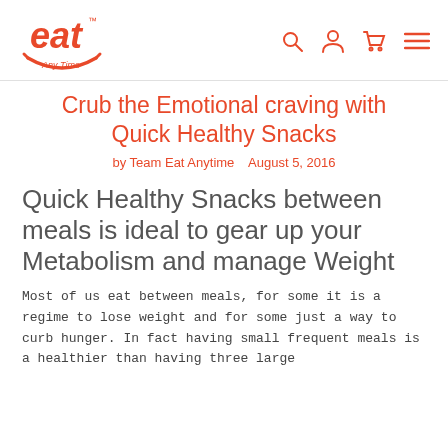eat Any Time — navigation icons: search, user, cart, menu
Crub the Emotional craving with Quick Healthy Snacks
by Team Eat Anytime   August 5, 2016
Quick Healthy Snacks between meals is ideal to gear up your Metabolism and manage Weight
Most of us eat between meals, for some it is a regime to lose weight and for some just a way to curb hunger. In fact having small frequent meals is a healthier than having three large